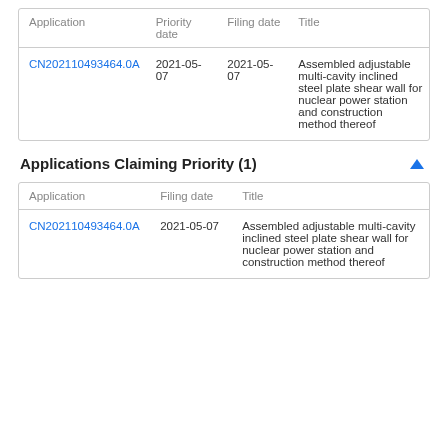| Application | Priority date | Filing date | Title |
| --- | --- | --- | --- |
| CN202110493464.0A | 2021-05-07 | 2021-05-07 | Assembled adjustable multi-cavity inclined steel plate shear wall for nuclear power station and construction method thereof |
Applications Claiming Priority (1)
| Application | Filing date | Title |
| --- | --- | --- |
| CN202110493464.0A | 2021-05-07 | Assembled adjustable multi-cavity inclined steel plate shear wall for nuclear power station and construction method thereof |